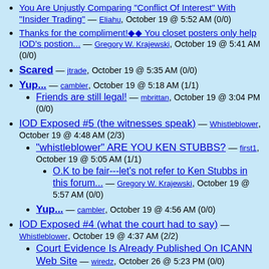You Are Unjustly Comparing "Conflict Of Interest" With "Insider Trading" — Eliahu, October 19 @ 5:52 AM (0/0)
Thanks for the compliment!?? You closet posters only help IOD's postion... — Gregory W. Krajewski, October 19 @ 5:41 AM (0/0)
Scared — jtrade, October 19 @ 5:35 AM (0/0)
Yup... — cambler, October 19 @ 5:18 AM (1/1)
Friends are still legal! — mbrittan, October 19 @ 3:04 PM (0/0)
IOD Exposed #5 (the witnesses speak) — Whistleblower, October 19 @ 4:48 AM (2/3)
"whistleblower" ARE YOU KEN STUBBS? — first1, October 19 @ 5:05 AM (1/1)
O.K to be fair---let's not refer to Ken Stubbs in this forum... — Gregory W. Krajewski, October 19 @ 5:57 AM (0/0)
Yup... — cambler, October 19 @ 4:56 AM (0/0)
IOD Exposed #4 (what the court had to say) — Whistleblower, October 19 @ 4:37 AM (2/2)
Court Evidence Is Already Published On ICANN Web Site — wiredz, October 26 @ 5:23 PM (0/0)
Yup... — cambler, October 19 @ 4:48 AM (0/0)
IOD Exposed #3 — Whistleblower, October 19 @ 4:09 AM (2/2)